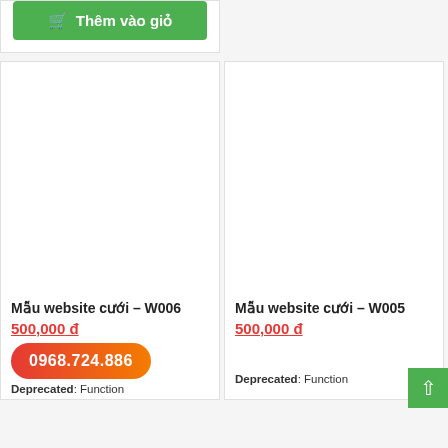[Figure (screenshot): Green 'Thêm vào giỏ' (Add to cart) button at top of page]
[Figure (screenshot): Product card: Mẫu website cưới – W006, white image area, price 500,000đ, Deprecated: Function label]
Mẫu website cưới – W006
500,000 đ
0968.724.886
Deprecated: Function
[Figure (screenshot): Product card: Mẫu website cưới – W005, white image area, price 500,000đ, Deprecated: Function label]
Mẫu website cưới – W005
500,000 đ
Deprecated: Function